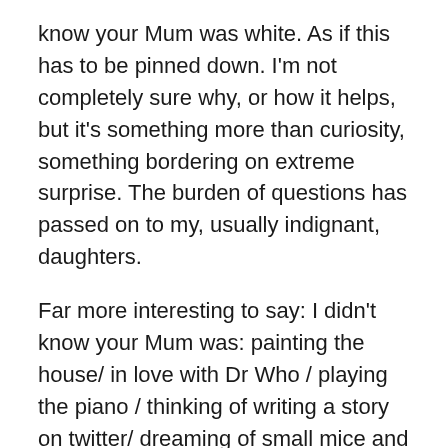know your Mum was white. As if this has to be pinned down. I'm not completely sure why, or how it helps, but it's something more than curiosity, something bordering on extreme surprise. The burden of questions has passed on to my, usually indignant, daughters.
Far more interesting to say: I didn't know your Mum was: painting the house/ in love with Dr Who / playing the piano / thinking of writing a story on twitter/ dreaming of small mice and silvery grass when she drove through the night to collect you. To be fair, how would they know to ask those questions? Perhaps it would be enough if they realised that behind the skin and the gender, the age and the voice, I am, like my